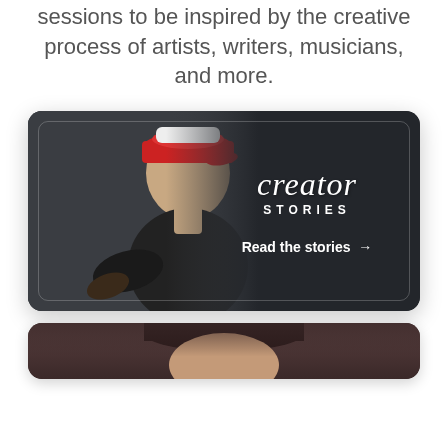sessions to be inspired by the creative process of artists, writers, musicians, and more.
[Figure (photo): A promotional card with a dark background showing a man wearing a red baseball cap and black t-shirt playing guitar. On the right side, cursive text reads 'creator STORIES' with a 'Read the stories →' link below.]
[Figure (photo): Bottom portion of a second card partially visible, showing a woman's face with dark hair against a dark background.]